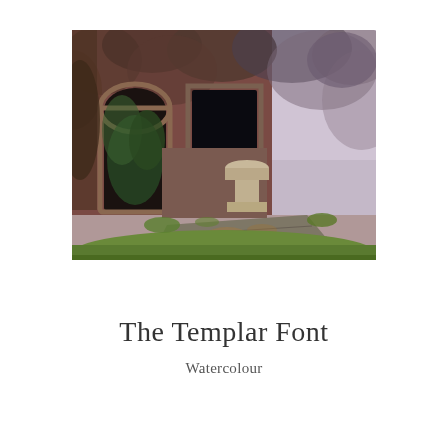[Figure (illustration): A watercolour painting depicting an old stone ruin with ivy-covered walls, an arched doorway on the left, a square window opening in the centre-left, a stone font or pedestal in the centre, and a large flat stone slab in the foreground, all surrounded by green grass. The overall palette is muted reddish-brown with green accents.]
The Templar Font
Watercolour